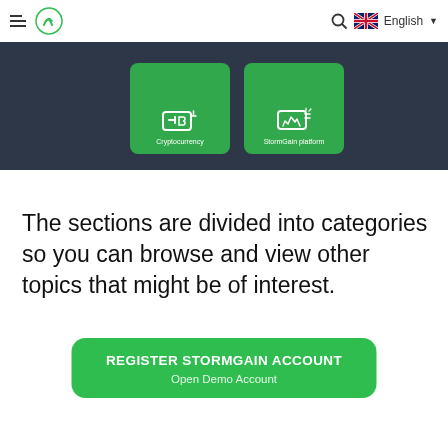StormGain — English
[Figure (screenshot): Dark banner showing two category cards: 'Cryptocurrency' and 'StormGain platform' with green card backgrounds on a dark grey/navy background.]
The sections are divided into categories so you can browse and view other topics that might be of interest.
[Figure (other): Green CTA button with 'REGISTER STORMGAIN ACCOUNT' in bold white uppercase text and 'Open Demo Account' below in lighter text.]